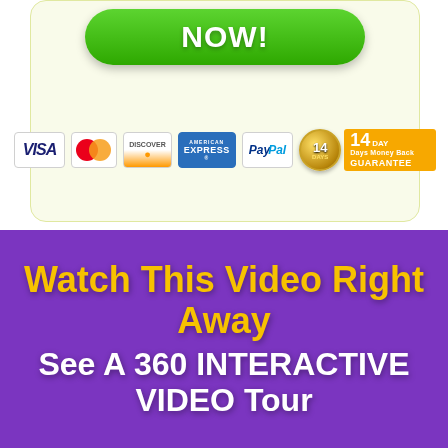[Figure (infographic): Green rounded button with white bold text 'NOW!' on a cream/light-yellow card background]
[Figure (infographic): Row of payment method badges: VISA, MasterCard, Discover, American Express, PayPal, and a 14-day money back guarantee badge]
Watch This Video Right Away
See A 360 INTERACTIVE VIDEO Tour